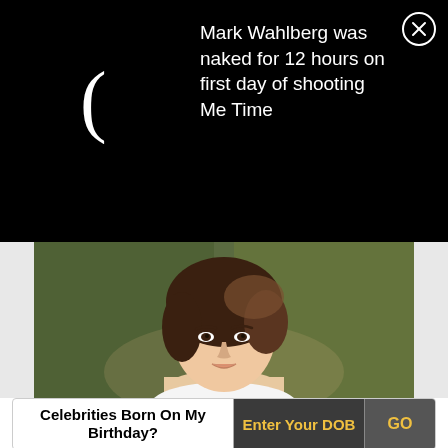Mark Wahlberg was naked for 12 hours on first day of shooting Me Time
[Figure (photo): Portrait photo of an Asian woman with a short bob haircut, wearing a white top, against a blurred green background]
Celebrities Born On My Birthday?
Enter Your DOB
GO